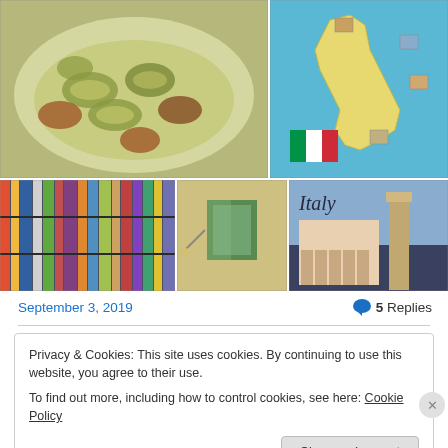[Figure (photo): Grid of photos: top-left shows a bowl of pasta/orecchiette with clams in green sauce; top-right shows a map of Italy with the Italian flag; bottom-left shows a colorful wall of books/spines; bottom-center shows a building facade with green shutters; bottom-right shows Venice/Italy landmark with text 'Italy']
September 3, 2019
5 Replies
Privacy & Cookies: This site uses cookies. By continuing to use this website, you agree to their use.
To find out more, including how to control cookies, see here: Cookie Policy
Close and accept